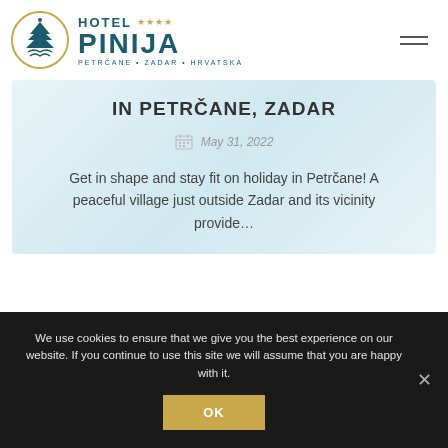[Figure (logo): Hotel Pinija logo with circular teal pine/wave emblem and hotel name text with stars rating, tagline PETRČANE • ZADAR • HRVATSKA]
IN PETRČANE, ZADAR
May 31, 2022
Get in shape and stay fit on holiday in Petrčane! A peaceful village just outside Zadar and its vicinity provide…
We use cookies to ensure that we give you the best experience on our website. If you continue to use this site we will assume that you are happy with it.